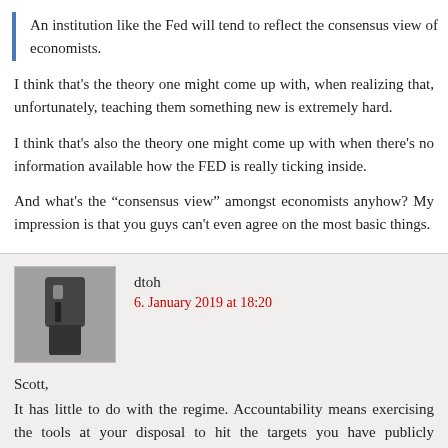An institution like the Fed will tend to reflect the consensus view of economists.
I think that’s the theory one might come up with, when realizing that, unfortunately, teaching them something new is extremely hard.
I think that’s also the theory one might come up with when there’s no information available how the FED is really ticking inside.
And what’s the “consensus view” amongst economists anyhow? My impression is that you guys can’t even agree on the most basic things.
dtoh
6. January 2019 at 18:20
Scott,
It has little to do with the regime. Accountability means exercising the tools at your disposal to hit the targets you have publicly announced.
The problem is that you and fellow economists will not excoriate the Fed when they fail to do this.
It has nothing to do with being a hawk or a dove. Is 2% inflation a different number if you are a hawk or a dove?
If the economy is below targets and the Fed is not buying more bonds the